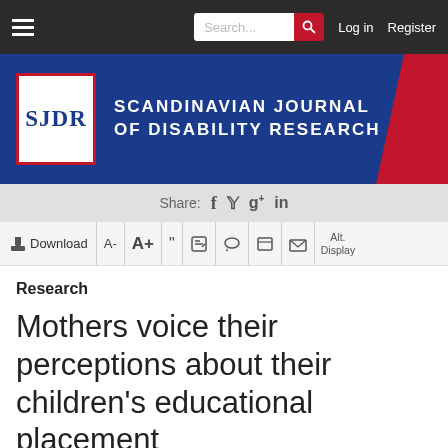[Figure (screenshot): Navigation bar with hamburger menu, search box, Log in and Register links on dark background]
[Figure (logo): SJDR logo box with Scandinavian Journal of Disability Research title on blue banner with red accent]
[Figure (other): Share bar with Facebook, Twitter, Google+, LinkedIn icons]
[Figure (other): Toolbar with Download, A-, A+, quote, edit, comment, print, email, Alt Display buttons]
Research
Mothers voice their perceptions about their children's educational placement
Author: Lisa Roll Patterson